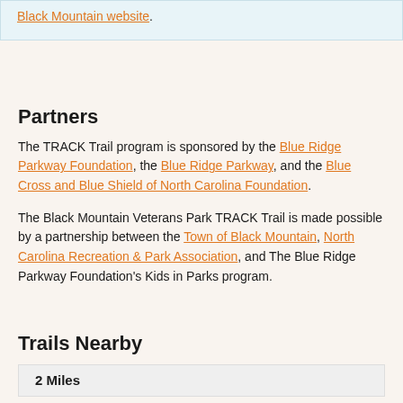Black Mountain website.
Partners
The TRACK Trail program is sponsored by the Blue Ridge Parkway Foundation, the Blue Ridge Parkway, and the Blue Cross and Blue Shield of North Carolina Foundation.
The Black Mountain Veterans Park TRACK Trail is made possible by a partnership between the Town of Black Mountain, North Carolina Recreation & Park Association, and The Blue Ridge Parkway Foundation's Kids in Parks program.
Trails Nearby
2 Miles